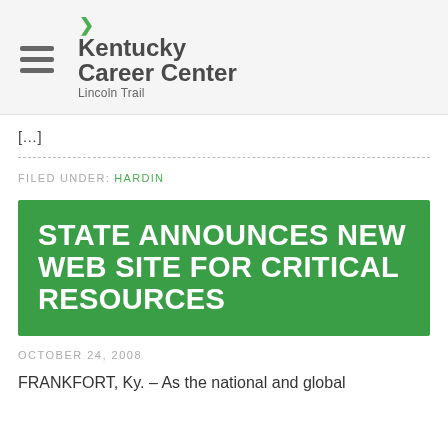Kentucky Career Center — Lincoln Trail
[…]
FILED UNDER: HARDIN
STATE ANNOUNCES NEW WEB SITE FOR CRITICAL RESOURCES
OCTOBER 24, 2008
FRANKFORT, Ky. – As the national and global